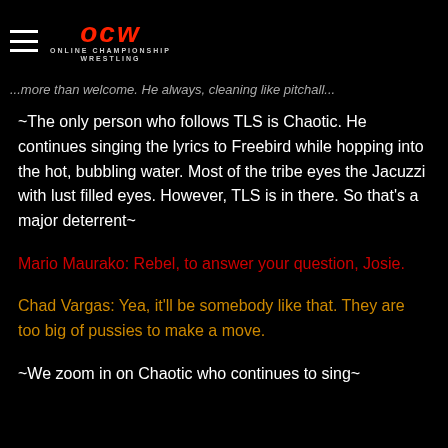OCW Online Championship Wrestling
...more than welcome. He always, cleaning like pitchall...
~The only person who follows TLS is Chaotic. He continues singing the lyrics to Freebird while hopping into the hot, bubbling water. Most of the tribe eyes the Jacuzzi with lust filled eyes. However, TLS is in there. So that's a major deterrent~
Mario Maurako: Rebel, to answer your question, Josie.
Chad Vargas: Yea, it'll be somebody like that. They are too big of pussies to make a move.
~We zoom in on Chaotic who continues to sing~